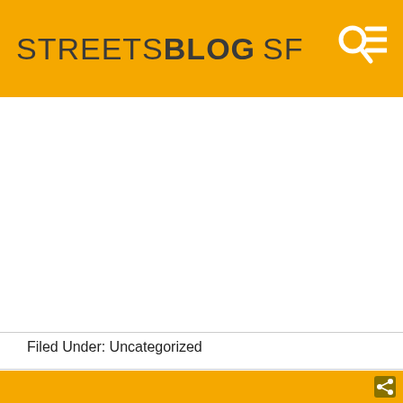STREETSBLOG SF
Filed Under: Uncategorized